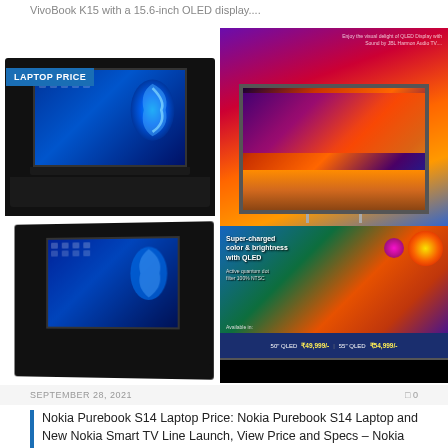VivoBook K15 with a 15.6-inch OLED display....
[Figure (photo): Collage of two laptop images (black laptops with Windows 11 display, one labeled LAPTOP PRICE) and two TV product images (QLED TVs with scenic displays and pricing: 50 QLED ₹49,999/-, 55 QLED ₹54,999/-)]
SEPTEMBER 28, 2021
Nokia Purebook S14 Laptop Price: Nokia Purebook S14 Laptop and New Nokia Smart TV Line Launch, View Price and Specs – Nokia Purebook S14 Laptop Launch and More details